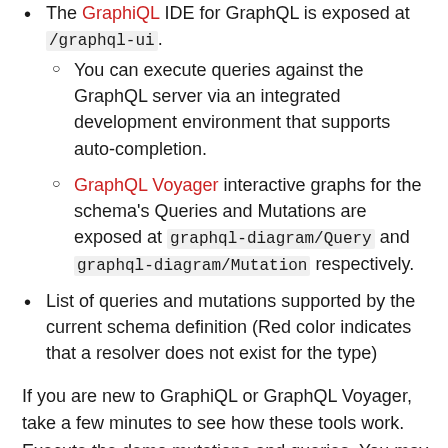The GraphiQL IDE for GraphQL is exposed at /graphql-ui.
You can execute queries against the GraphQL server via an integrated development environment that supports auto-completion.
GraphQL Voyager interactive graphs for the schema's Queries and Mutations are exposed at graphql-diagram/Query and graphql-diagram/Mutation respectively.
List of queries and mutations supported by the current schema definition (Red color indicates that a resolver does not exist for the type)
If you are new to GraphiQL or GraphQL Voyager, take a few minutes to see how these tools work. Execute the demo mutations and queries. You may want to